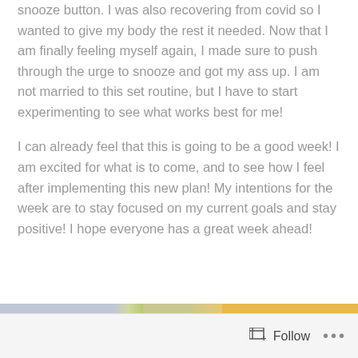snooze button. I was also recovering from covid so I wanted to give my body the rest it needed. Now that I am finally feeling myself again, I made sure to push through the urge to snooze and got my ass up. I am not married to this set routine, but I have to start experimenting to see what works best for me!
I can already feel that this is going to be a good week! I am excited for what is to come, and to see how I feel after implementing this new plan! My intentions for the week are to stay focused on my current goals and stay positive! I hope everyone has a great week ahead!
[Figure (photo): Partial photo showing a light blue/lavender area on the left, a green strip in the middle, and a warm orange/yellow area on the right, cropped at the bottom of the page.]
Follow ...